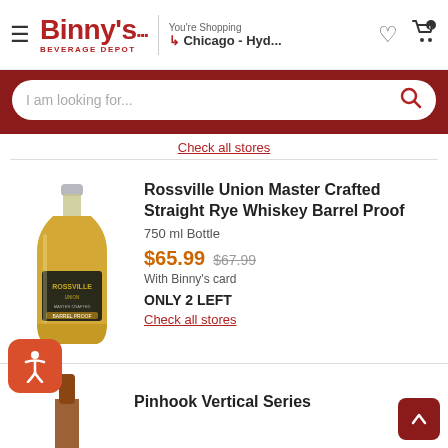Binny's Beverage Depot — You're Shopping: Chicago - Hyd...
I am looking for...
Check all stores
[Figure (photo): Bottle of Rossville Union Master Crafted Straight Rye Whiskey Barrel Proof]
Rossville Union Master Crafted Straight Rye Whiskey Barrel Proof
750 ml Bottle
$65.99  $67.99
With Binny's card
ONLY 2 LEFT
Check all stores
Pinhook Vertical Series